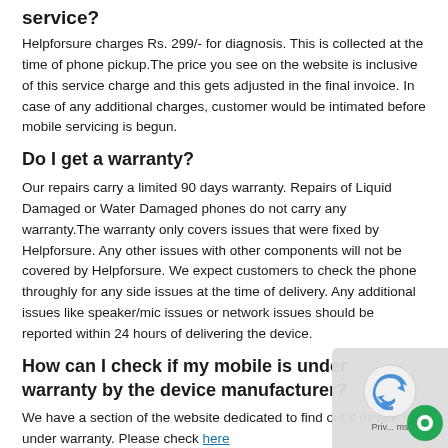service?
Helpforsure charges Rs. 299/- for diagnosis. This is collected at the time of phone pickup.The price you see on the website is inclusive of this service charge and this gets adjusted in the final invoice. In case of any additional charges, customer would be intimated before mobile servicing is begun.
Do I get a warranty?
Our repairs carry a limited 90 days warranty. Repairs of Liquid Damaged or Water Damaged phones do not carry any warranty.The warranty only covers issues that were fixed by Helpforsure. Any other issues with other components will not be covered by Helpforsure. We expect customers to check the phone throughly for any side issues at the time of delivery. Any additional issues like speaker/mic issues or network issues should be reported within 24 hours of delivering the device.
How can I check if my mobile is under warranty by the device manufacturer?
We have a section of the website dedicated to find out if device is under warranty. Please check here